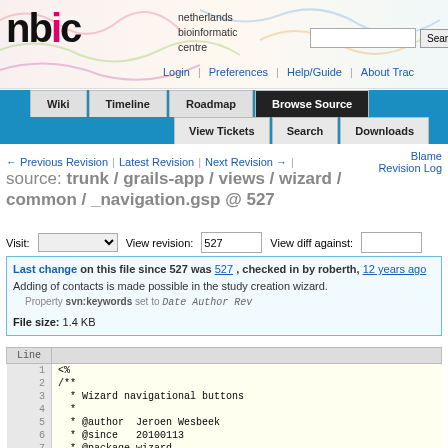[Figure (logo): NBIC logo with colored letters and decorative background]
netherlands bioinformatic centre
Login | Preferences | Help/Guide | About Trac
Wiki | Timeline | Roadmap | Browse Source | View Tickets | Search | Downloads
← Previous Revision | Latest Revision | Next Revision → | Blame Revision Log
source: trunk / grails-app / views / wizard / common / _navigation.gsp @ 527
Visit: [dropdown] View revision: 527 View diff against: [input]
Last change on this file since 527 was 527, checked in by roberth, 12 years ago
Adding of contacts is made possible in the study creation wizard.
Property svn:keywords set to Date Author Rev
File size: 1.4 KB
| Line |  |
| --- | --- |
| 1 | <% |
| 2 | /** |
| 3 |  * Wizard navigational buttons |
| 4 |  * |
| 5 |  * @author  Jeroen Wesbeek |
| 6 |  * @since   20100113 |
| 7 |  * @package wizard |